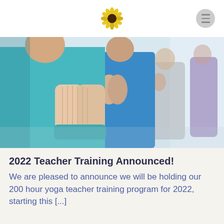[Sunflower logo and menu icon]
[Figure (photo): Group of people standing in a row in prayer/namaste pose, wearing colorful athletic wear (teal, blue, gray, purple). The person in the foreground is a woman in a teal hoodie with hands pressed together in front of her chest. The photo is taken in a yoga studio or similar bright indoor space.]
2022 Teacher Training Announced!
We are pleased to announce we will be holding our 200 hour yoga teacher training program for 2022, starting this [...]